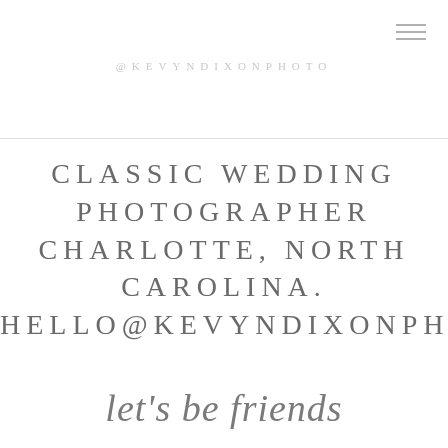@KEVYNDIXONPHOTO
CLASSIC WEDDING PHOTOGRAPHER CHARLOTTE, NORTH CAROLINA. HELLO@KEVYNDIXONPHOTO.COM
let's be friends